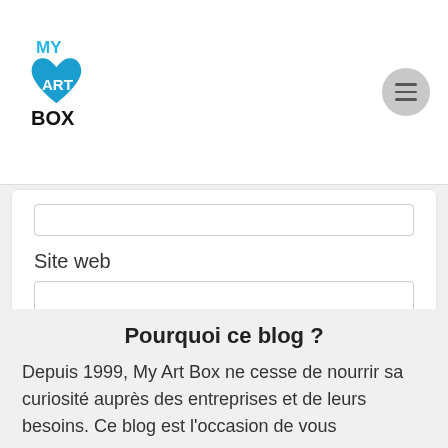[Figure (logo): My Art Box logo: blue heart with 'ART' text inside, with 'MY' above and 'BOX' below in bold black text]
Site web
LAISSER UN COMMENTAIRE
Ce site utilise Akismet pour réduire les indésirables. En savoir plus sur comment les données de vos commentaires sont utilisées.
Pourquoi ce blog ?
Depuis 1999, My Art Box ne cesse de nourrir sa curiosité auprès des entreprises et de leurs besoins. Ce blog est l'occasion de vous